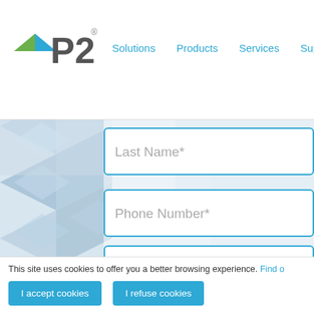[Figure (logo): P2 company logo with blue/green geometric arrow and grey P2 text]
Solutions   Products   Services   Supp
[Figure (screenshot): Web form with fields: Last Name*, Phone Number*, Email*, Company Name*, Department...*]
This site uses cookies to offer you a better browsing experience. Find o
I accept cookies   I refuse cookies